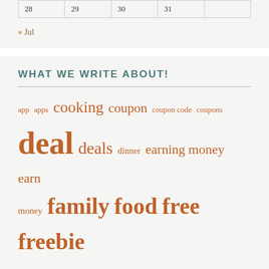| 28 | 29 | 30 | 31 |  |
« Jul
WHAT WE WRITE ABOUT!
app apps cooking coupon coupon code coupons deal deals dinner earning money earn money family food free freebie frugal frugal living fun kids meal meal plan meat research groups research study sample samples shopping survey surveys Uncategorized